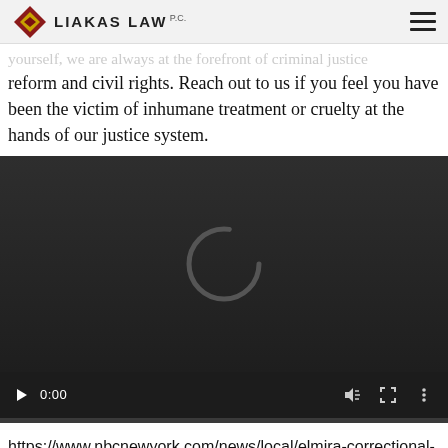LIAKAS LAW P.C.
yourself, we are always at the forefront of criminal justice reform and civil rights. Reach out to us if you feel you have been the victim of inhumane treatment or cruelty at the hands of our justice system.
[Figure (screenshot): Embedded video player with dark background showing a loading spinner (circular arc) and playback controls: play button, 0:00 timestamp, volume icon, fullscreen icon, and options icon. A progress bar is shown at the bottom.]
https://www.nbcnewyork.com/news/local/elmira-correctional-facility-defecation-room/2205578/